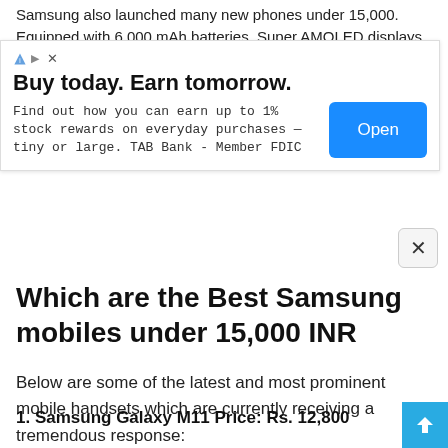Samsung also launched many new phones under 15,000. Equipped with 6,000 mAh batteries, Super AMOLED displays,
[Figure (infographic): Advertisement banner: 'Buy today. Earn tomorrow.' with text 'Find out how you can earn up to 1% stock rewards on everyday purchases — tiny or large. TAB Bank - Member FDIC' and an Open button. Has AdChoices icon and close X button.]
Which are the Best Samsung mobiles under 15,000 INR
Below are some of the latest and most prominent mobile handsets which are currently receiving a tremendous response:
1. Samsung Galaxy M11 Price: Rs. 12,800